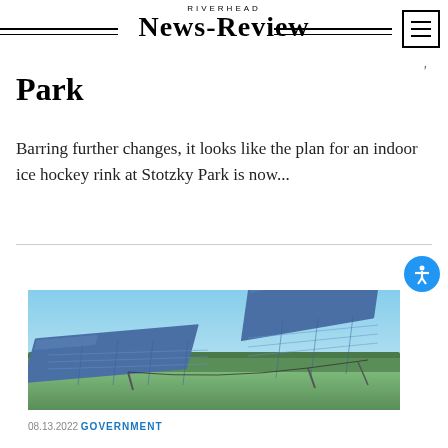RIVERHEAD NEWS-REVIEW
Park
Barring further changes, it looks like the plan for an indoor ice hockey rink at Stotzky Park is now...
[Figure (photo): Outdoor solar panel array in a grassy field under a clear blue sky with trees in the background]
08.13.2022 GOVERNMENT